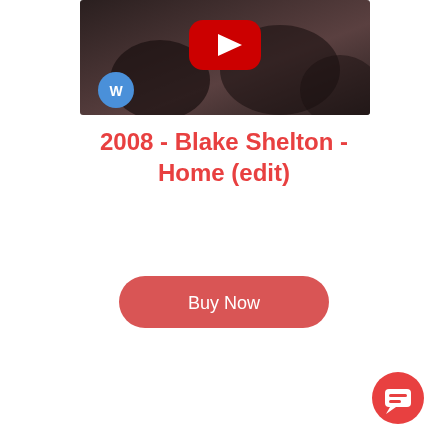[Figure (screenshot): YouTube video thumbnail for Blake Shelton - Home, showing a dark scene with a YouTube play button overlay and Warner Music badge in bottom left]
2008 - Blake Shelton - Home (edit)
[Figure (other): Buy Now button - red rounded pill button with white text]
[Figure (other): Red circular chat/message bubble icon in bottom right corner]